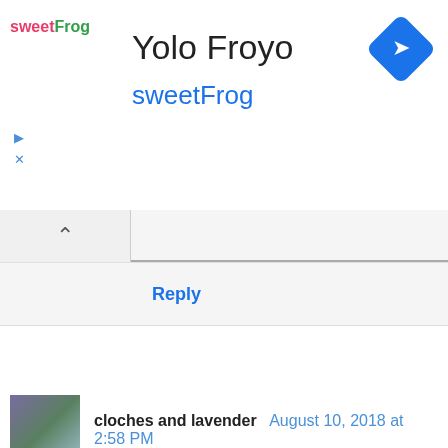[Figure (logo): sweetFrog logo with brand name]
Yolo Froyo
sweetFrog
[Figure (other): Blue diamond-shaped navigation/directions icon]
Reply
cloches and lavender  August 10, 2018 at 2:58 PM
Your garden is amazing. Drooling over about all the winter squash you are growing. Do you eat the blossoms too? Heard they are good.

Every herb planted is a favorite of mine.

Fried sage and all your herbs are super for pesto.

You made me want roast pork. Love it.

Happy I'm following your blog. Lose a lot for this blogger on